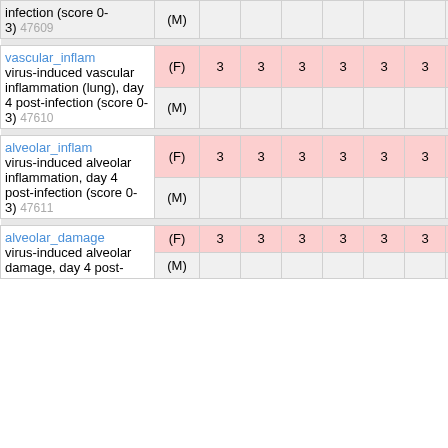| Variable name / description | Sex | col1 | col2 | col3 | col4 | col5 | col6 | last |
| --- | --- | --- | --- | --- | --- | --- | --- | --- |
| infection (score 0-3)  47609 | (M) |  |  |  |  |  |  |  |
| vascular_inflam  virus-induced vascular inflammation (lung), day 4 post-infection (score 0-3)  47610 | (F) | 3 | 3 | 3 | 3 | 3 | 3 | 1 |
|  | (M) |  |  |  |  |  |  |  |
| alveolar_inflam  virus-induced alveolar inflammation, day 4 post-infection (score 0-3)  47611 | (F) | 3 | 3 | 3 | 3 | 3 | 3 | 1 |
|  | (M) |  |  |  |  |  |  |  |
| alveolar_damage  virus-induced alveolar damage, day 4 post- | (F) | 3 | 3 | 3 | 3 | 3 | 3 | 1 |
|  | (M) |  |  |  |  |  |  |  |